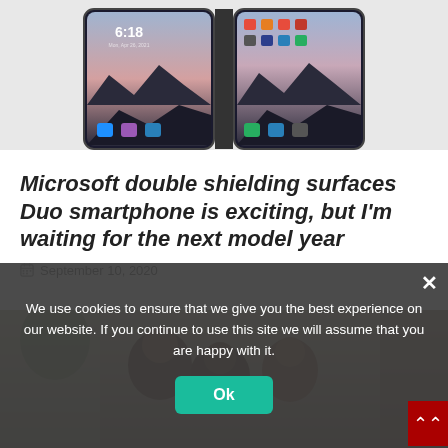[Figure (screenshot): Microsoft Surface Duo dual-screen smartphone shown open, displaying Android home screen with app icons and time 6:18]
Microsoft double shielding surfaces Duo smartphone is exciting, but I'm waiting for the next model year
September 10, 2020
[Figure (photo): Photo of people smiling and laughing together, partially obscured by cookie consent banner]
We use cookies to ensure that we give you the best experience on our website. If you continue to use this site we will assume that you are happy with it.